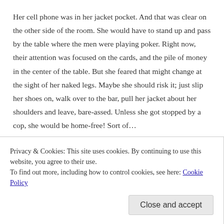Her cell phone was in her jacket pocket. And that was clear on the other side of the room. She would have to stand up and pass by the table where the men were playing poker. Right now, their attention was focused on the cards, and the pile of money in the center of the table. But she feared that might change at the sight of her naked legs. Maybe she should risk it; just slip her shoes on, walk over to the bar, pull her jacket about her shoulders and leave, bare-assed. Unless she got stopped by a cop, she would be home-free! Sort of…
Angie figured she was safe to drive. The effects of the
Privacy & Cookies: This site uses cookies. By continuing to use this website, you agree to their use.
To find out more, including how to control cookies, see here: Cookie Policy